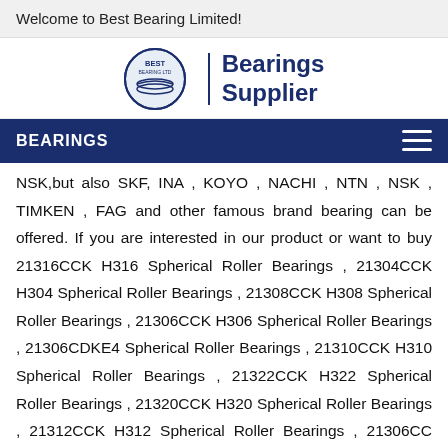Welcome to Best Bearing Limited!
[Figure (logo): Best Bearing Limited logo with circular emblem and 'Bearings Supplier' text in dark blue]
BEARINGS
NSK,but also SKF, INA , KOYO , NACHI , NTN , NSK , TIMKEN , FAG and other famous brand bearing can be offered. If you are interested in our product or want to buy 21316CCK H316 Spherical Roller Bearings , 21304CCK H304 Spherical Roller Bearings , 21308CCK H308 Spherical Roller Bearings , 21306CCK H306 Spherical Roller Bearings , 21306CDKE4 Spherical Roller Bearings , 21310CCK H310 Spherical Roller Bearings , 21322CCK H322 Spherical Roller Bearings , 21320CCK H320 Spherical Roller Bearings , 21312CCK H312 Spherical Roller Bearings , 21306CC Spherical Roller Bearings ,